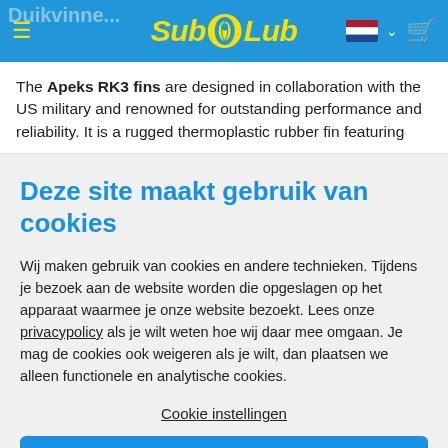Sub Lub
The Apeks RK3 fins are designed in collaboration with the US military and renowned for outstanding performance and reliability. It is a rugged thermoplastic rubber fin featuring
Deze site maakt gebruik van cookies
Wij maken gebruik van cookies en andere technieken. Tijdens je bezoek aan de website worden die opgeslagen op het apparaat waarmee je onze website bezoekt. Lees onze privacypolicy als je wilt weten hoe wij daar mee omgaan. Je mag de cookies ook weigeren als je wilt, dan plaatsen we alleen functionele en analytische cookies.
Cookie instellingen
Alles accepteren